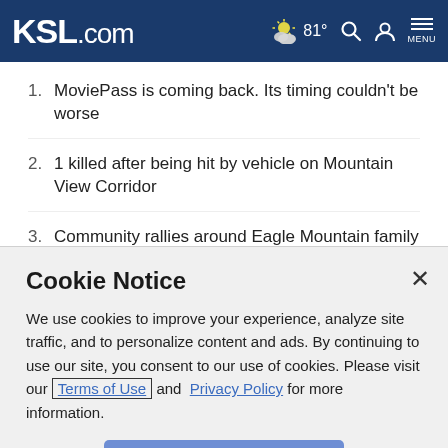KSL.com  ☁ 81°  🔍  👤  MENU
1. MoviePass is coming back. Its timing couldn't be worse
2. 1 killed after being hit by vehicle on Mountain View Corridor
3. Community rallies around Eagle Mountain family after devastating house fire
4. (partial, obscured)
Cookie Notice
We use cookies to improve your experience, analyze site traffic, and to personalize content and ads. By continuing to use our site, you consent to our use of cookies. Please visit our Terms of Use and Privacy Policy for more information.
Continue